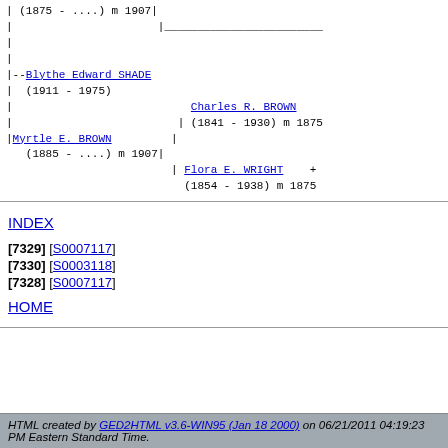| (1875 - ....) m 1907|
|
|
|
|--Blythe Edward SHADE
|  (1911 - 1975)
|                           Charles R. BROWN
|                         | (1841 - 1930) m 1875
| Myrtle E. BROWN         |
   (1885 - ....) m 1907|
                         | Flora E. WRIGHT    +
                           (1854 - 1938) m 1875
INDEX
[7329] [S0007117]
[7330] [S0003118]
[7328] [S0007117]
HOME
HTML created by GED2HTML v3.6-WIN95 (Jan 18 2000) on 06/21/2011 04:19:23 PM Eastern Standard Time.